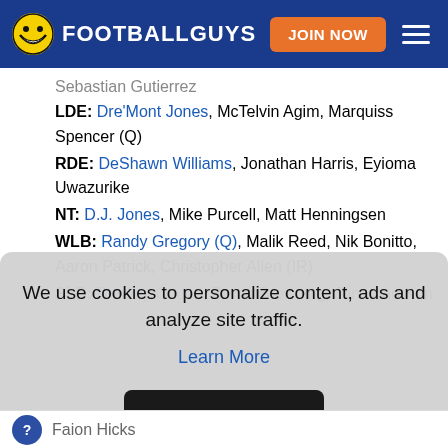FOOTBALLGUYS — JOIN NOW
Sebastian Gutierrez
LDE: Dre'Mont Jones, McTelvin Agim, Marquiss Spencer (Q)
RDE: DeShawn Williams, Jonathan Harris, Eyioma Uwazurike
NT: D.J. Jones, Mike Purcell, Matt Henningsen
WLB: Randy Gregory (Q), Malik Reed, Nik Bonitto, Aaron Patrick, Christopher Allen (IR)
SLB: Bradley Chubb, Baron Browning, Jonathan Kongbo
We use cookies to personalize content, ads and analyze site traffic.
Learn More
OKAY
Faion Hicks